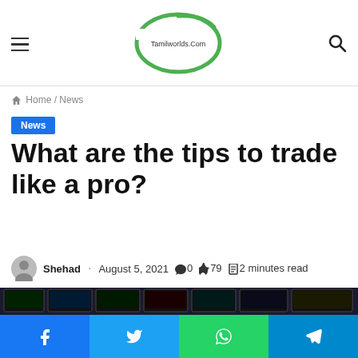Tamilworlds.Com — site header with hamburger menu, logo, and search icon
Home / News
News
What are the tips to trade like a pro?
Shehad · August 5, 2021 💬 0 🔥 79 ▪ 2 minutes read
[Figure (photo): Trading floor with multiple screens showing financial data, traders visible in background]
[Figure (infographic): Social share bar with Facebook, Twitter, WhatsApp, and Telegram buttons]